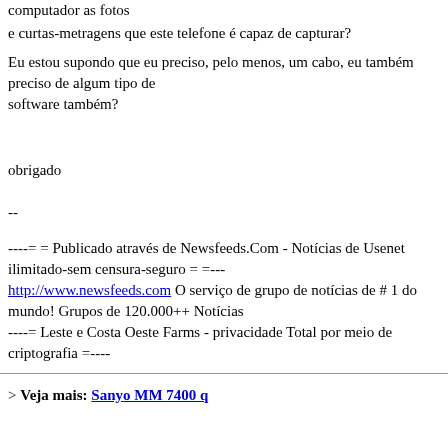computador as fotos e curtas-metragens que este telefone é capaz de capturar?
Eu estou supondo que eu preciso, pelo menos, um cabo, eu também preciso de algum tipo de software também?
obrigado
--
----= = Publicado através de Newsfeeds.Com - Notícias de Usenet ilimitado-sem censura-seguro = =---
http://www.newsfeeds.com O serviço de grupo de notícias de # 1 do mundo! Grupos de 120.000++ Notícias
----= Leste e Costa Oeste Farms - privacidade Total por meio de criptografia =----
> Veja mais: Sanyo MM 7400 q